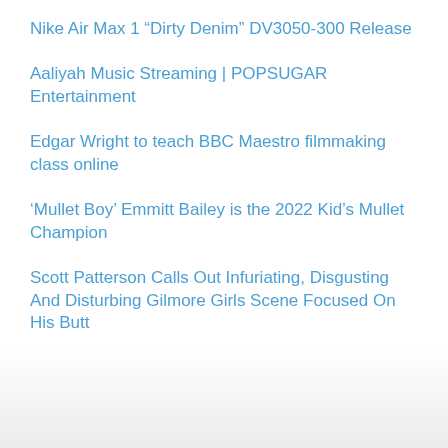Nike Air Max 1 “Dirty Denim” DV3050-300 Release
Aaliyah Music Streaming | POPSUGAR Entertainment
Edgar Wright to teach BBC Maestro filmmaking class online
‘Mullet Boy’ Emmitt Bailey is the 2022 Kid’s Mullet Champion
Scott Patterson Calls Out Infuriating, Disgusting And Disturbing Gilmore Girls Scene Focused On His Butt